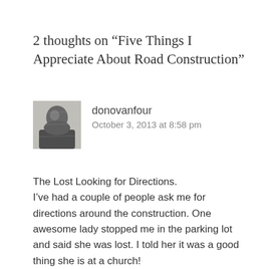2 thoughts on “Five Things I Appreciate About Road Construction”
[Figure (photo): Black and white avatar photo of commenter donovanfour]
donovanfour
October 3, 2013 at 8:58 pm
The Lost Looking for Directions.
I’ve had a couple of people ask me for directions around the construction. One awesome lady stopped me in the parking lot and said she was lost. I told her it was a good thing she is at a church!
The construction brought an opportunity for myself to come into contact with people I might not otherwise meet, I was able to give them a hand and we were united in our frustration over the construction. Construction actually